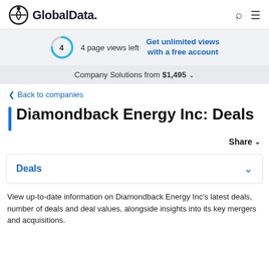GlobalData.
4 page views left  Get unlimited views with a free account
Company Solutions from $1,495
Back to companies
Diamondback Energy Inc: Deals
Share
Deals
View up-to-date information on Diamondback Energy Inc's latest deals, number of deals and deal values, alongside insights into its key mergers and acquisitions.